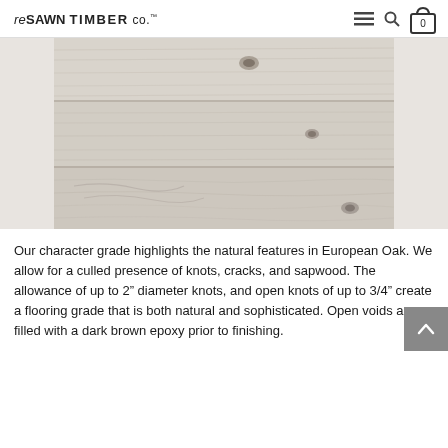reSAWN TIMBER co.™
[Figure (photo): Close-up photo of white/light gray European Oak wood flooring planks showing natural grain, knots, and subtle color variation across three horizontal boards.]
Our character grade highlights the natural features in European Oak. We allow for a culled presence of knots, cracks, and sapwood. The allowance of up to 2" diameter knots, and open knots of up to 3/4" create a flooring grade that is both natural and sophisticated. Open voids are filled with a dark brown epoxy prior to finishing.